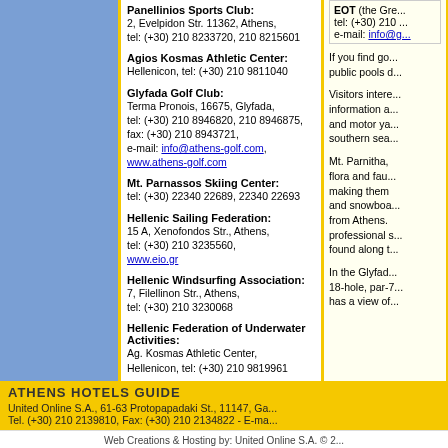Panellinios Sports Club: 2, Evelpidon Str. 11362, Athens, tel: (+30) 210 8233720, 210 8215601
Agios Kosmas Athletic Center: Hellenicon, tel: (+30) 210 9811040
Glyfada Golf Club: Terma Pronois, 16675, Glyfada, tel: (+30) 210 8946820, 210 8946875, fax: (+30) 210 8943721, e-mail: info@athens-golf.com, www.athens-golf.com
Mt. Parnassos Skiing Center: tel: (+30) 22340 22689, 22340 22693
Hellenic Sailing Federation: 15 A, Xenofondos Str., Athens, tel: (+30) 210 3235560, www.eio.gr
Hellenic Windsurfing Association: 7, Filellinon Str., Athens, tel: (+30) 210 3230068
Hellenic Federation of Underwater Activities: Ag. Kosmas Athletic Center, Hellenicon, tel: (+30) 210 9819961
EOT (the Greek National Tourism Organisation) tel: (+30) 210 ... e-mail: info@g...
If you find go... public pools d...
Visitors intere... information a... and motor ya... southern sea...
Mt. Parnitha, flora and fau... making them and snowboa... from Athens. professional s... found along t...
In the Glyfad... 18-hole, par-7... has a view of...
ATHENS HOTELS GUIDE
United Online S.A., 61-63 Protopapadaki St., 11147, Ga... Tel. (+30) 210 2139810, Fax: (+30) 210 2134822 - E-ma...
Web Creations & Hosting by: United Online S.A. © 2...